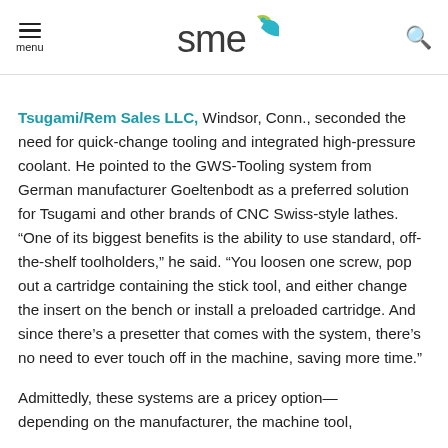SME logo, menu, and search
Tsugami/Rem Sales LLC, Windsor, Conn., seconded the need for quick-change tooling and integrated high-pressure coolant. He pointed to the GWS-Tooling system from German manufacturer Goeltenbodt as a preferred solution for Tsugami and other brands of CNC Swiss-style lathes. “One of its biggest benefits is the ability to use standard, off-the-shelf toolholders,” he said. “You loosen one screw, pop out a cartridge containing the stick tool, and either change the insert on the bench or install a preloaded cartridge. And since there’s a presetter that comes with the system, there’s no need to ever touch off in the machine, saving more time.”
Admittedly, these systems are a pricey option—depending on the manufacturer, the machine tool,